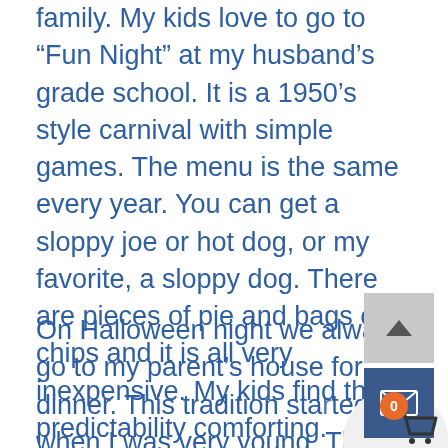family. My kids love to go to “Fun Night” at my husband’s grade school. It is a 1950’s style carnival with simple games. The menu is the same every year. You can get a sloppy joe or hot dog, or my favorite, a sloppy dog. There are pieces of pie and bags of chips and it is all very inexpensive. My kids find the predictability comforting.
On Halloween night we always go to my parent’s house for dinner. This tradition started when I was very young. The neighbors would gather for dinner and the dads would take kids trick or treating and the moms would stay